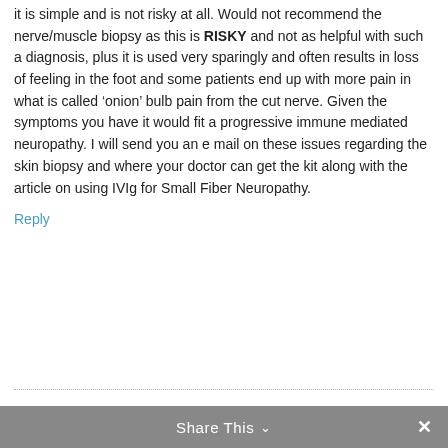it is simple and is not risky at all. Would not recommend the nerve/muscle biopsy as this is RISKY and not as helpful with such a diagnosis, plus it is used very sparingly and often results in loss of feeling in the foot and some patients end up with more pain in what is called 'onion' bulb pain from the cut nerve. Given the symptoms you have it would fit a progressive immune mediated neuropathy. I will send you an e mail on these issues regarding the skin biopsy and where your doctor can get the kit along with the article on using IVIg for Small Fiber Neuropathy.
Reply
Share This ∨  ✕